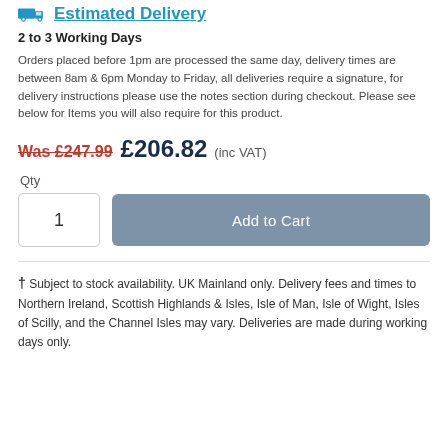Estimated Delivery
2 to 3 Working Days
Orders placed before 1pm are processed the same day, delivery times are between 8am & 6pm Monday to Friday, all deliveries require a signature, for delivery instructions please use the notes section during checkout. Please see below for Items you will also require for this product.
Was £247.99  £206.82  (inc VAT)
Qty
1
Add to Cart
† Subject to stock availability. UK Mainland only. Delivery fees and times to Northern Ireland, Scottish Highlands & Isles, Isle of Man, Isle of Wight, Isles of Scilly, and the Channel Isles may vary. Deliveries are made during working days only.